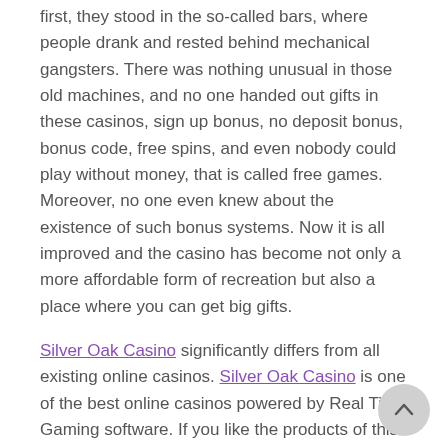first, they stood in the so-called bars, where people drank and rested behind mechanical gangsters. There was nothing unusual in those old machines, and no one handed out gifts in these casinos, sign up bonus, no deposit bonus, bonus code, free spins, and even nobody could play without money, that is called free games. Moreover, no one even knew about the existence of such bonus systems. Now it is all improved and the casino has become not only a more affordable form of recreation but also a place where you can get big gifts.
Silver Oak Casino significantly differs from all existing online casinos. Silver Oak Casino is one of the best online casinos powered by Real Time Gaming software. If you like the products of this software manufacturer, you